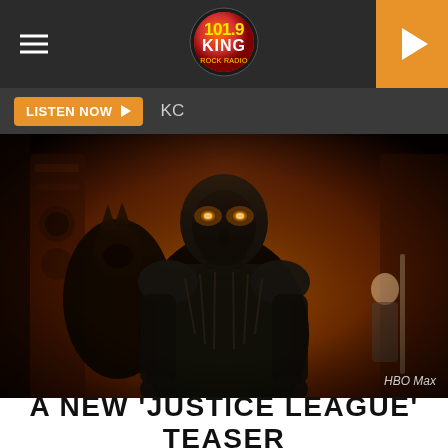101.9 KING - LISTEN NOW KC
[Figure (screenshot): A dark, dramatic still from Justice League / Zack Snyder's Justice League showing Darkseid (a large armored villain with glowing orange eyes) standing in the foreground flanked by two other dark armored figures. The background is an amber/orange lit hall with ornate banners. Credit: HBO Max]
HBO Max
A NEW 'JUSTICE LEAGUE' TEASER